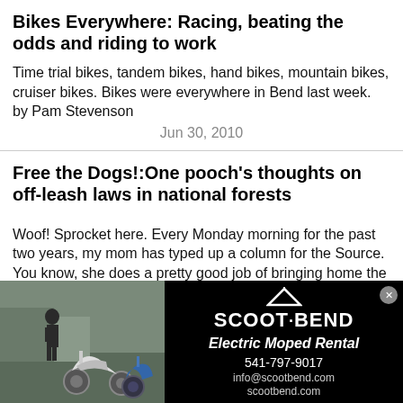Bikes Everywhere: Racing, beating the odds and riding to work
Time trial bikes, tandem bikes, hand bikes, mountain bikes, cruiser bikes. Bikes were everywhere in Bend last week.
by Pam Stevenson
Jun 30, 2010
Free the Dogs!:One pooch's thoughts on off-leash laws in national forests
Woof! Sprocket here. Every Monday morning for the past two years, my mom has typed up a column for the Source. You know, she does a pretty good job of bringing home the Milkbones, so I thought I'd help out this week.
[Figure (photo): Advertisement for Scoot Bend Electric Moped Rental showing two scooters parked outside with a person, and black panel with logo, phone number 541-797-9017, info@scootbend.com, scootbend.com]